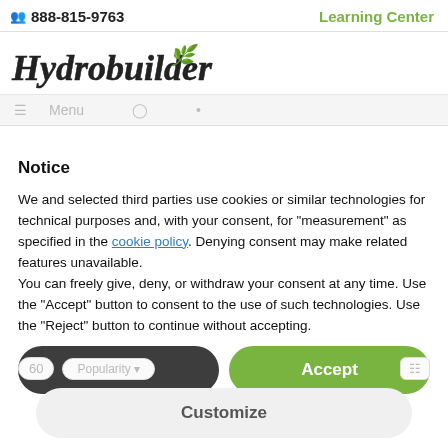888-815-9763   Learning Center
[Figure (logo): Hydrobuilder logo with cursive/script text and a green leaf icon]
Notice
We and selected third parties use cookies or similar technologies for technical purposes and, with your consent, for “measurement” as specified in the cookie policy. Denying consent may make related features unavailable.
You can freely give, deny, or withdraw your consent at any time. Use the “Accept” button to consent to the use of such technologies. Use the “Reject” button to continue without accepting.
Reject
Accept
Customize